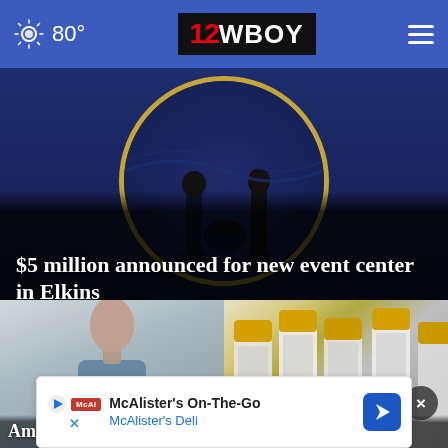80° | 12 WBOY
[Figure (photo): WV state seal or similar emblem on dark blue background forming the hero image backdrop]
$5 million announced for new event center in Elkins
[Figure (photo): Person standing, torso visible, in light blue/grey clothing, blurred background]
[Figure (photo): Medical vials/vaccine bottles with yellow caps arranged together]
Am...
offering...
McAlister's On-The-Go
McAlister's Deli